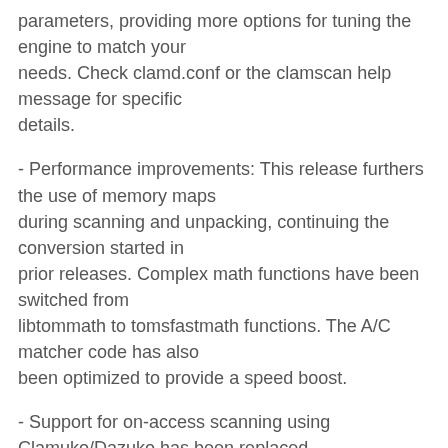parameters, providing more options for tuning the engine to match your needs. Check clamd.conf or the clamscan help message for specific details.
- Performance improvements: This release furthers the use of memory maps during scanning and unpacking, continuing the conversion started in prior releases. Complex math functions have been switched from libtommath to tomsfastmath functions. The A/C matcher code has also been optimized to provide a speed boost.
- Support for on-access scanning using Clamuko/Dazuko has been replaced with fanotify. Accordingly, clamd.conf settings related to on-access scanning have had Clamuko removed from the name. Clamuko-specific